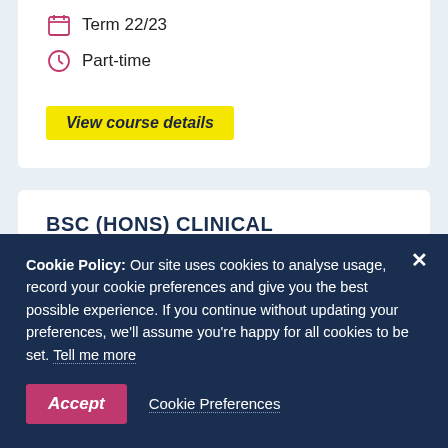Term 22/23
Part-time
View course details
BSC (HONS) CLINICAL HERBALISM (FULL-TIME)
Cookie Policy: Our site uses cookies to analyse usage, record your cookie preferences and give you the best possible experience. If you continue without updating your preferences, we'll assume you're happy for all cookies to be set. Tell me more
Accept
Cookie Preferences